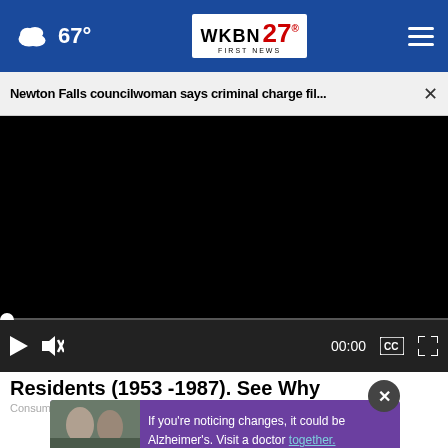67° WKBN FIRST NEWS 27
Newton Falls councilwoman says criminal charge fil...
[Figure (screenshot): Black video player area showing a paused/unloaded video]
00:00
Residents (1953 -1987). See Why
Consumer Coalition
If you're noticing changes, it could be Alzheimer's. Visit a doctor together.